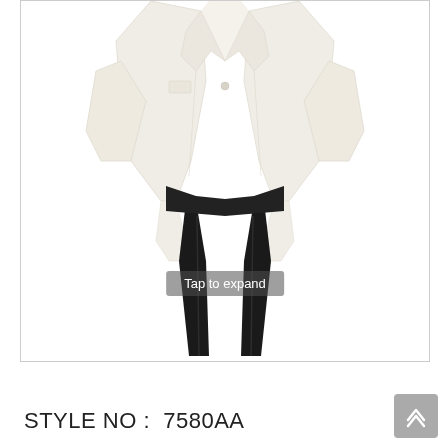[Figure (photo): Product photo of a children's formal suit set consisting of a white/ivory blazer jacket with shawl lapel and black dress pants, displayed on a mannequin or flat lay. A 'Tap to expand' overlay appears at the bottom center of the image.]
STYLE NO :  7580AA